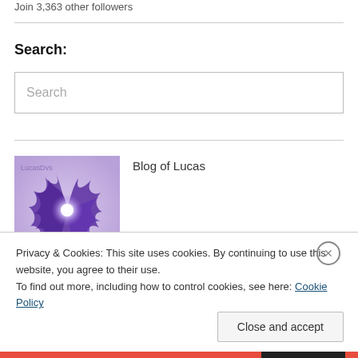Join 3,363 other followers
Search:
Search
[Figure (illustration): Blog of Lucas logo — purple spiky fractal star shape on light lavender background with 'LucasDvs' watermark]
Blog of Lucas
Privacy & Cookies: This site uses cookies. By continuing to use this website, you agree to their use.
To find out more, including how to control cookies, see here: Cookie Policy
Close and accept